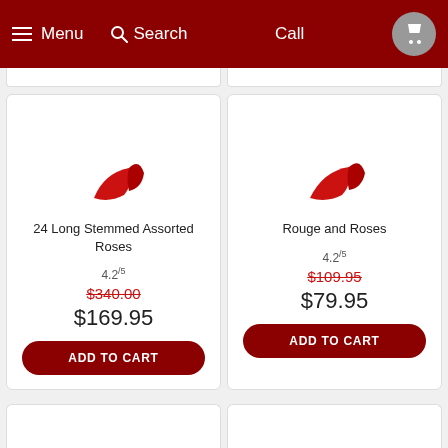Menu  Search  Call
[Figure (illustration): Product thumbnail — rose illustration for 24 Long Stemmed Assorted Roses]
24 Long Stemmed Assorted Roses
4.2/5
$340.00
$169.95
ADD TO CART
[Figure (illustration): Product thumbnail — rose illustration for Rouge and Roses]
Rouge and Roses
4.2/5
$109.95
$79.95
ADD TO CART